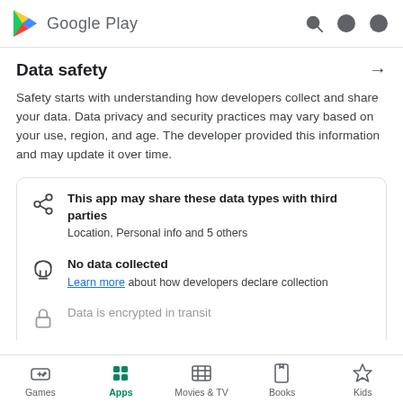[Figure (logo): Google Play logo with triangle play button icon in red, yellow, green and blue, followed by 'Google Play' text]
Data safety
Safety starts with understanding how developers collect and share your data. Data privacy and security practices may vary based on your use, region, and age. The developer provided this information and may update it over time.
This app may share these data types with third parties
Location, Personal info and 5 others
No data collected
Learn more about how developers declare collection
Data is encrypted in transit
Games  Apps  Movies & TV  Books  Kids